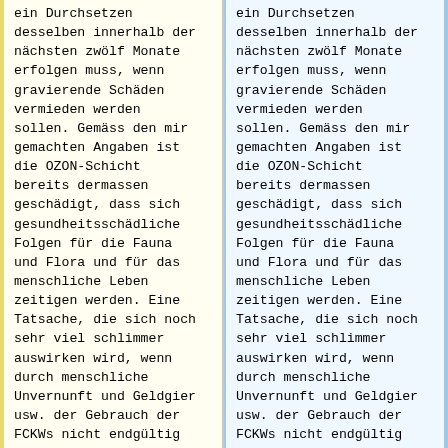ein Durchsetzen desselben innerhalb der nächsten zwölf Monate erfolgen muss, wenn gravierende Schäden vermieden werden sollen. Gemäss den mir gemachten Angaben ist die OZON-Schicht bereits dermassen geschädigt, dass sich gesundheitsschädliche Folgen für die Fauna und Flora und für das menschliche Leben zeitigen werden. Eine Tatsache, die sich noch sehr viel schlimmer auswirken wird, wenn durch menschliche Unvernunft und Geldgier usw. der Gebrauch der FCKWs nicht endgültig verboten wird. Bereits ist die südliche OZON-
ein Durchsetzen desselben innerhalb der nächsten zwölf Monate erfolgen muss, wenn gravierende Schäden vermieden werden sollen. Gemäss den mir gemachten Angaben ist die OZON-Schicht bereits dermassen geschädigt, dass sich gesundheitsschädliche Folgen für die Fauna und Flora und für das menschliche Leben zeitigen werden. Eine Tatsache, die sich noch sehr viel schlimmer auswirken wird, wenn durch menschliche Unvernunft und Geldgier usw. der Gebrauch der FCKWs nicht endgültig verboten wird. Bereits ist die südliche OZON-